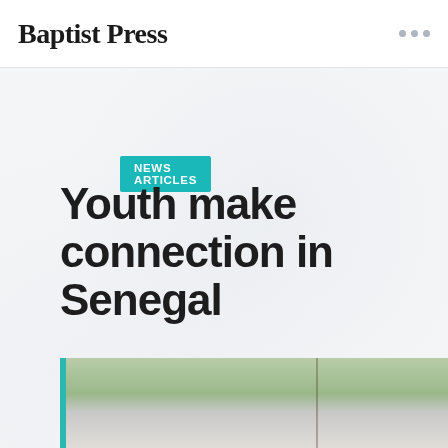Baptist Press
NEWS ARTICLES
Youth make connection in Senegal
By Emily Peters, posted September 7, 2007 in
[Figure (photo): Partial photo of a building or structure with palm trees, cropped at bottom of page]